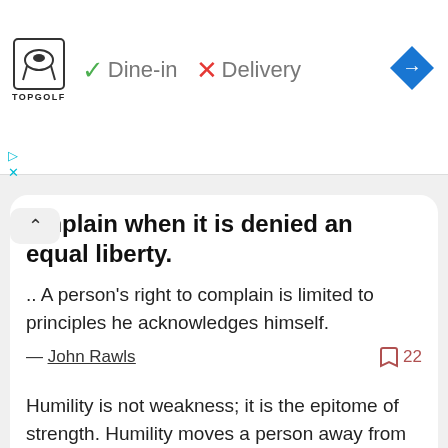[Figure (screenshot): Advertisement banner for Topgolf with logo, dine-in checkmark, delivery X mark, and navigation arrow icon]
omplain when it is denied an equal liberty.
.. A person's right to complain is limited to principles he acknowledges himself.
— John Rawls   22
[Figure (screenshot): Social share buttons: Facebook, WhatsApp, Reddit, Twitter]
Humility is not weakness; it is the epitome of strength. Humility moves a person away from human, personal weakness and limitation into